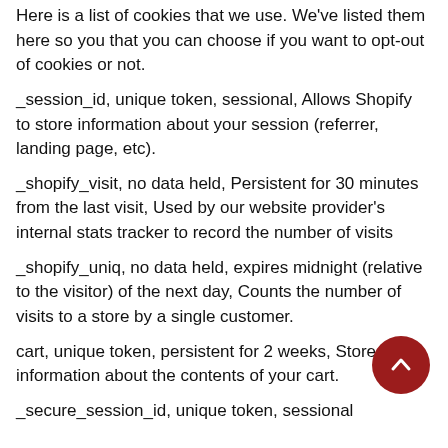Here is a list of cookies that we use. We've listed them here so you that you can choose if you want to opt-out of cookies or not.
_session_id, unique token, sessional, Allows Shopify to store information about your session (referrer, landing page, etc).
_shopify_visit, no data held, Persistent for 30 minutes from the last visit, Used by our website provider's internal stats tracker to record the number of visits
_shopify_uniq, no data held, expires midnight (relative to the visitor) of the next day, Counts the number of visits to a store by a single customer.
cart, unique token, persistent for 2 weeks, Stores information about the contents of your cart.
_secure_session_id, unique token, sessional